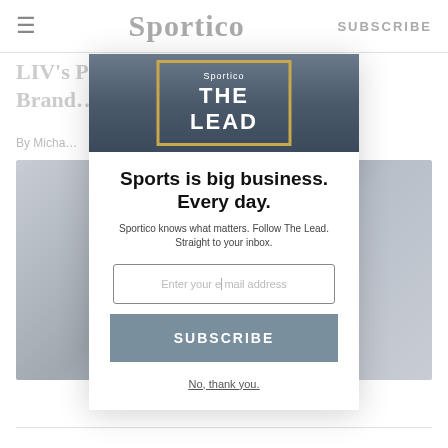≡  Sportico  SUBSCRIBE
LIV's P…el, Brand…
By Micha…  2:06 PM
[Figure (screenshot): The Lead newsletter banner with gold border on dark background]
Sports is big business. Every day.
Sportico knows what matters. Follow The Lead. Straight to your inbox.
Enter your email address
SUBSCRIBE
No, thank you.